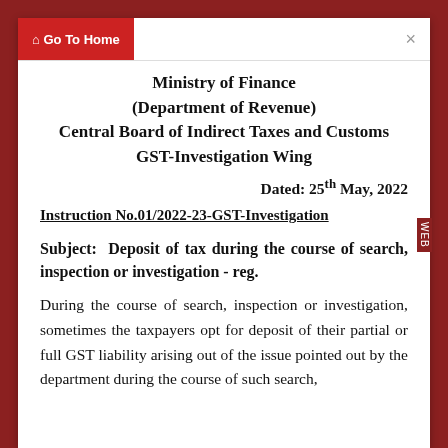Go To Home
Ministry of Finance
(Department of Revenue)
Central Board of Indirect Taxes and Customs
GST-Investigation Wing
Dated: 25th May, 2022
Instruction No.01/2022-23-GST-Investigation
Subject: Deposit of tax during the course of search, inspection or investigation - reg.
During the course of search, inspection or investigation, sometimes the taxpayers opt for deposit of their partial or full GST liability arising out of the issue pointed out by the department during the course of such search,